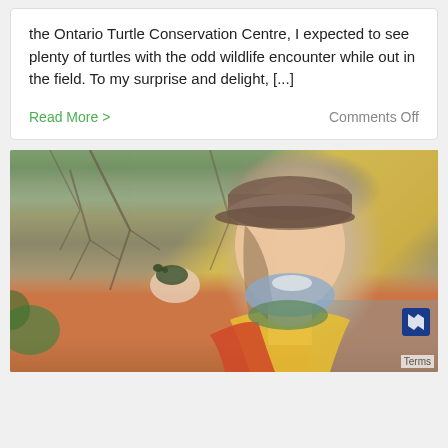the Ontario Turtle Conservation Centre, I expected to see plenty of turtles with the odd wildlife encounter while out in the field. To my surprise and delight, [...]
Read More >
Comments Off
[Figure (photo): A woman wearing a cap, face mask pulled down, yellow high-visibility vest over a red jacket, smiling and holding up a small turtle in her gloved hand. Background shows bare branches and green foliage near water. A 'Terms' label appears at the bottom right corner.]